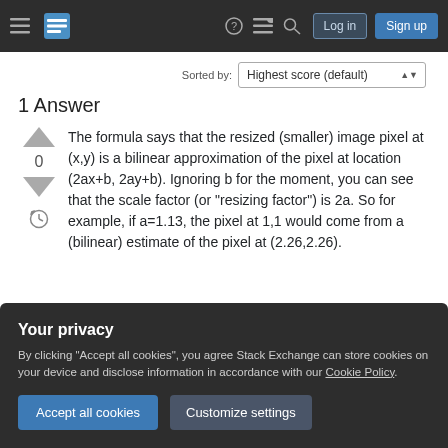Stack Exchange navigation bar with hamburger menu, logo, help, chat, search icons, Log in and Sign up buttons
Sorted by:
1 Answer
The formula says that the resized (smaller) image pixel at (x,y) is a bilinear approximation of the pixel at location (2ax+b, 2ay+b). Ignoring b for the moment, you can see that the scale factor (or "resizing factor") is 2a. So for example, if a=1.13, the pixel at 1,1 would come from a (bilinear) estimate of the pixel at (2.26,2.26).
Your privacy
By clicking "Accept all cookies", you agree Stack Exchange can store cookies on your device and disclose information in accordance with our Cookie Policy.
it as a global shift in the entire image of a small